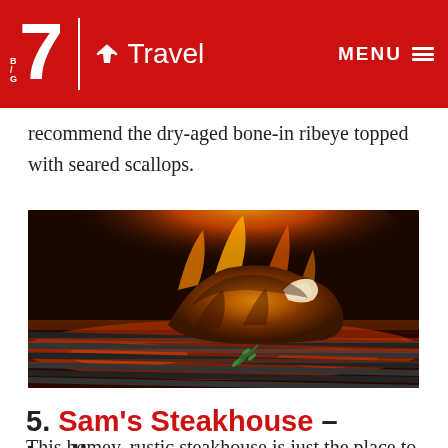B/G 7 Travel | MENU
recommend the dry-aged bone-in ribeye topped with seared scallops.
[Figure (photo): A thick bone-in steak searing on a hot grill with open flames and glowing coals in the background, with a sprig of rosemary beside it.]
5. Sam's Steakhouse – Ludlow
This homey, rustic steakhouse is just the place to treat yourself to a delicious steakhouse dinner. From the